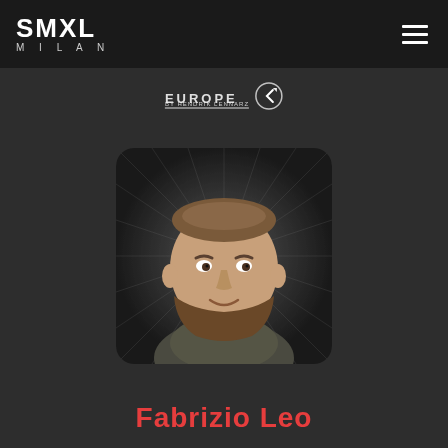[Figure (logo): SMXL Milan logo in white on dark navigation bar]
[Figure (logo): Europe by Hendrik Lennarz logo with rocket icon, partially visible at top center]
[Figure (photo): Portrait photo of Fabrizio Leo, a bearded man smiling, on a dark radial pattern background, displayed in a rounded rectangle]
Fabrizio Leo